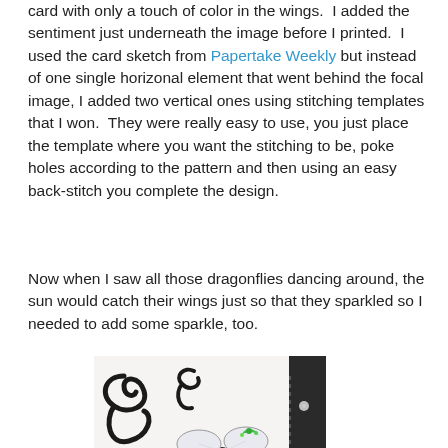card with only a touch of color in the wings.  I added the sentiment just underneath the image before I printed.  I used the card sketch from Papertake Weekly but instead of one single horizonal element that went behind the focal image, I added two vertical ones using stitching templates that I won.  They were really easy to use, you just place the template where you want the stitching to be, poke holes according to the pattern and then using an easy back-stitch you complete the design.
Now when I saw all those dragonflies dancing around, the sun would catch their wings just so that they sparkled so I needed to add some sparkle, too.
[Figure (photo): Close-up photo of a crafted card showing a dragonfly with green and white wings, black swirl decorative elements on a white background, with stitching detail on the right side.]